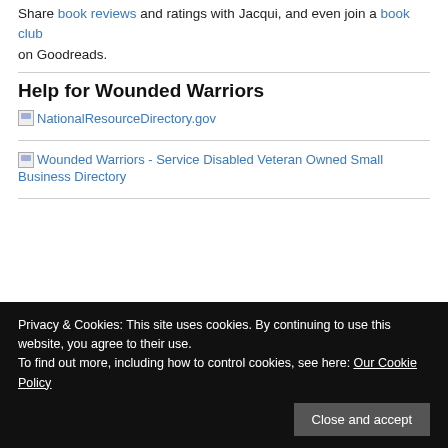Share book reviews and ratings with Jacqui, and even join a book club on Goodreads.
Help for Wounded Warriors
[Figure (other): Image link placeholder for NationalResourceDirectory.gov with blue link text]
[Figure (other): Image link placeholder for Wounded Warriors - Service Disabled Veteran Owned Small Business Directory with blue link text]
Privacy & Cookies: This site uses cookies. By continuing to use this website, you agree to their use.
To find out more, including how to control cookies, see here: Our Cookie Policy
Close and accept